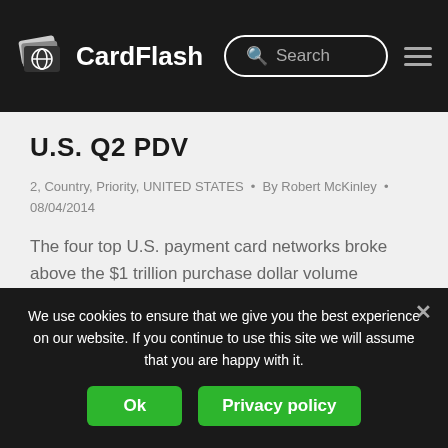CardFlash
U.S. Q2 PDV
2, Country, Priority, UNITED STATES • By Robert McKinley • 08/04/2014
The four top U.S. payment card networks broke above the $1 trillion purchase dollar volume milestone again in the second quarter. MasterCard led the charge growing 10.1% in U.S. purchase dollar volume to $289 billion.
We use cookies to ensure that we give you the best experience on our website. If you continue to use this site we will assume that you are happy with it.